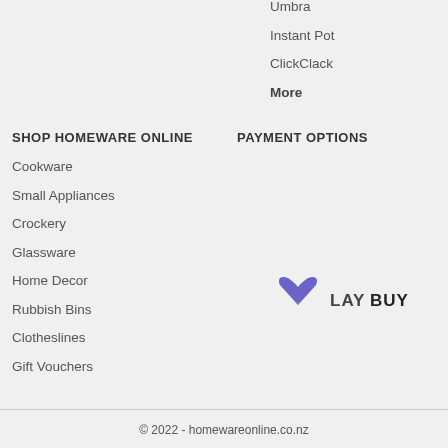Umbra
Instant Pot
ClickClack
More
SHOP HOMEWARE ONLINE
PAYMENT OPTIONS
Cookware
Small Appliances
Crockery
Glassware
Home Decor
Rubbish Bins
Clotheslines
Gift Vouchers
[Figure (logo): Laybuy payment logo with heart-shaped icon and LAYBUY text]
© 2022 - homewareonline.co.nz